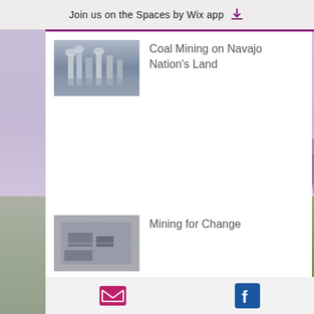Join us on the Spaces by Wix app
[Figure (photo): Thumbnail photo of coal mining industrial facility]
Coal Mining on Navajo Nation’s Land
[Figure (photo): Thumbnail photo of mining operations]
Mining for Change
[Figure (photo): Thumbnail photo of city skyline with haze/pollution]
Population Booms and Pollution Woes: Air Quality in America’s 5th Most-Populo...
Archive